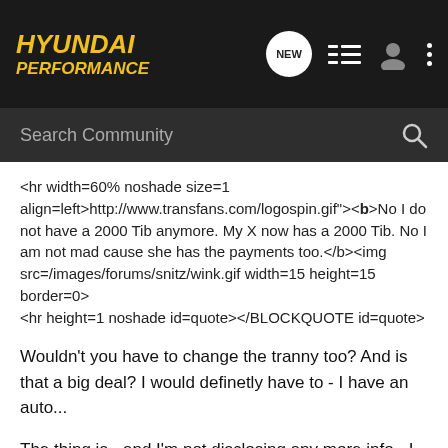[Figure (logo): Hyundai Performance forum logo — dark navbar with yellow italic bold text reading HYUNDAI PERFORMANCE, plus nav icons (NEW bubble, list, user, dots)]
<hr width=60% noshade size=1 align=left>http://www.transfans.com/logospin.gif"><b>No I do not have a 2000 Tib anymore. My X now has a 2000 Tib. No I am not mad cause she has the payments too.</b><img src=/images/forums/snitz/wink.gif width=15 height=15 border=0>
<hr height=1 noshade id=quote></BLOCKQUOTE id=quote>
Wouldn't you have to change the tranny too? And is that a big deal? I would definetly have to - I have an auto...
The thing is - and I'm not disclosing any more info - I MAY have access to an Eclipse Turbo. But agonizingly have too little money right now.